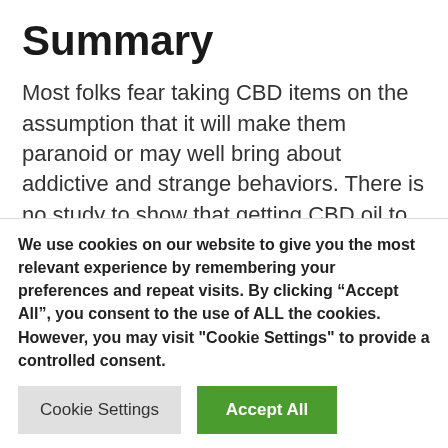Summary
Most folks fear taking CBD items on the assumption that it will make them paranoid or may well bring about addictive and strange behaviors. There is no study to show that getting CBD oil to enable with snooze is damaging. Even so, treating suffering and anxiety can support endorse healthier snooze by easing the discomfort. Total, better rest can support treatment sleeplessness so strengthening your excellent of existence
We use cookies on our website to give you the most relevant experience by remembering your preferences and repeat visits. By clicking “Accept All”, you consent to the use of ALL the cookies. However, you may visit "Cookie Settings" to provide a controlled consent.
Cookie Settings | Accept All